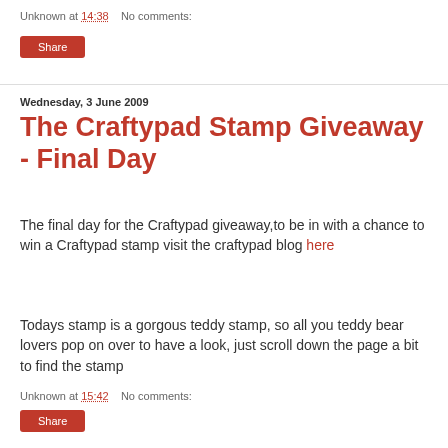Unknown at 14:38    No comments:
Share
Wednesday, 3 June 2009
The Craftypad Stamp Giveaway - Final Day
The final day for the Craftypad giveaway,to be in with a chance to win a Craftypad stamp visit the craftypad blog here
Todays stamp is a gorgous teddy stamp, so all you teddy bear lovers pop on over to have a look, just scroll down the page a bit to find the stamp
Unknown at 15:42    No comments:
Share